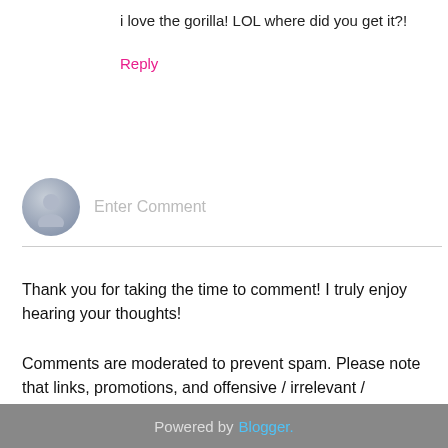i love the gorilla! LOL where did you get it?!
Reply
[Figure (illustration): User avatar placeholder — a grey circular avatar icon with a generic person silhouette, next to an 'Enter Comment' input placeholder text]
Thank you for taking the time to comment! I truly enjoy hearing your thoughts!
Comments are moderated to prevent spam. Please note that links, promotions, and offensive / irrelevant / questionable comments will be deleted at my discretion.
[Figure (infographic): Navigation buttons: left arrow button (pink), Home button (pink, center), right arrow button (pink)]
View web version
Powered by Blogger.